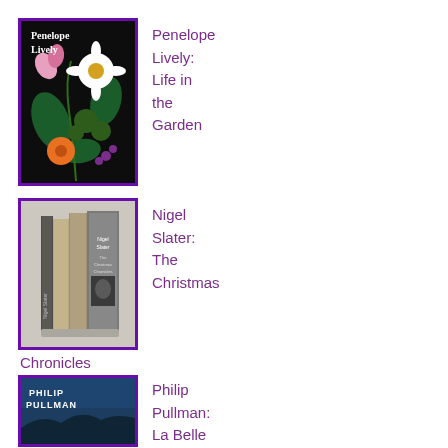[Figure (illustration): Book cover: Penelope Lively - Life in the Garden. Dark background with botanical floral illustration, white text.]
Penelope Lively: Life in the Garden
[Figure (illustration): Book cover: Nigel Slater - The Christmas Chronicles. Grey boxed set of books.]
Nigel Slater: The Christmas Chronicles
[Figure (illustration): Book cover: Philip Pullman - La Belle. Dark blue cover with white text.]
Philip Pullman: La Belle